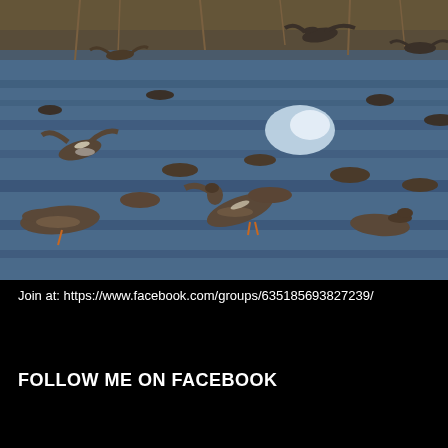[Figure (photo): A large flock of ducks (likely pintails or similar waterfowl) on a body of water, many in motion — flying, splashing, and swimming. The water is blue-grey and the background has reeds/marsh vegetation. Action wildlife photography.]
Join at: https://www.facebook.com/groups/635185693827239/
FOLLOW ME ON FACEBOOK